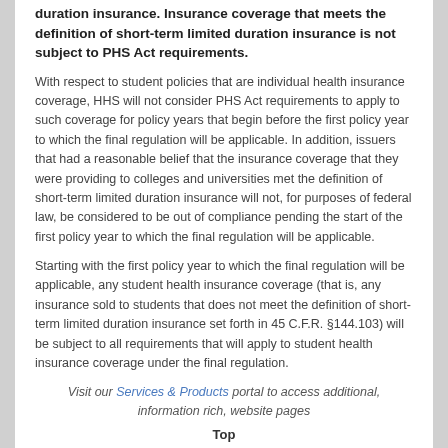duration insurance. Insurance coverage that meets the definition of short-term limited duration insurance is not subject to PHS Act requirements.
With respect to student policies that are individual health insurance coverage, HHS will not consider PHS Act requirements to apply to such coverage for policy years that begin before the first policy year to which the final regulation will be applicable. In addition, issuers that had a reasonable belief that the insurance coverage that they were providing to colleges and universities met the definition of short-term limited duration insurance will not, for purposes of federal law, be considered to be out of compliance pending the start of the first policy year to which the final regulation will be applicable.
Starting with the first policy year to which the final regulation will be applicable, any student health insurance coverage (that is, any insurance sold to students that does not meet the definition of short-term limited duration insurance set forth in 45 C.F.R. §144.103) will be subject to all requirements that will apply to student health insurance coverage under the final regulation.
Visit our Services & Products portal to access additional, information rich, website pages
Top